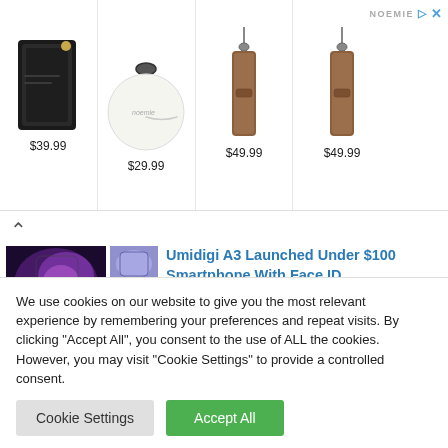[Figure (screenshot): Advertisement banner showing 4 leather phone accessories/bags with prices: $39.99, $29.99, $49.99, $49.99. Brand name NOEMIE shown top right with ad controls (arrow and X).]
[Figure (photo): Article thumbnail showing a phone with purple/violet color and smaller secondary thumbnails]
Umidigi A3 Launched Under $100 Smartphone With Face ID
September 27, 2018
In "News"
We use cookies on our website to give you the most relevant experience by remembering your preferences and repeat visits. By clicking “Accept All”, you consent to the use of ALL the cookies. However, you may visit “Cookie Settings” to provide a controlled consent.